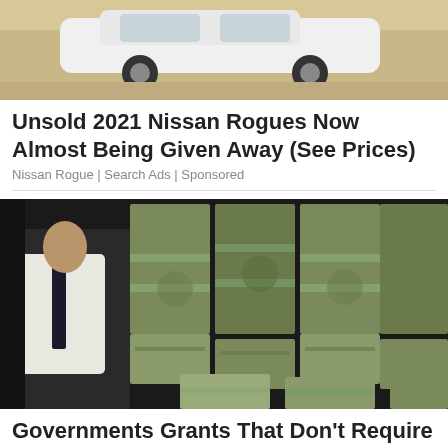[Figure (photo): Partial view of white Nissan Rogue car from above/side angle on pavement]
Unsold 2021 Nissan Rogues Now Almost Being Given Away (See Prices)
Nissan Rogue | Search Ads | Sponsored
[Figure (photo): Man in white shirt and dark tie standing next to large stacks of bundled US dollar bills piled high]
Governments Grants That Don't Require Any